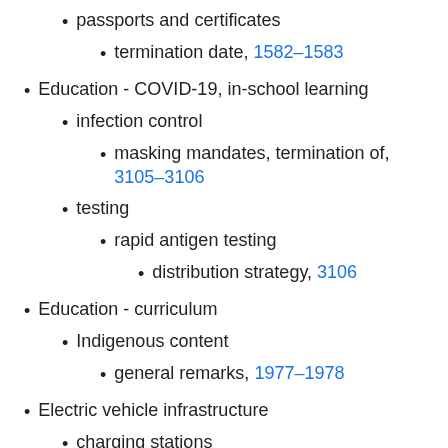passports and certificates
termination date, 1582–1583
Education - COVID-19, in-school learning
infection control
masking mandates, termination of, 3105–3106
testing
rapid antigen testing
distribution strategy, 3106
Education - curriculum
Indigenous content
general remarks, 1977–1978
Electric vehicle infrastructure
charging stations